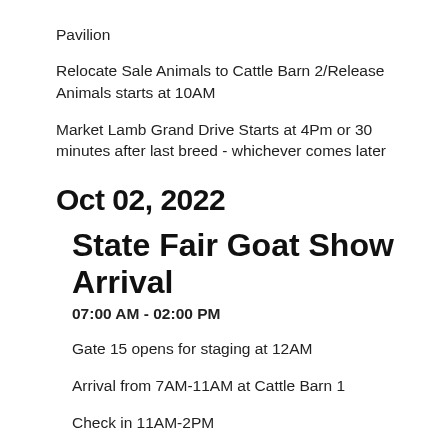Pavilion
Relocate Sale Animals to Cattle Barn 2/Release Animals starts at 10AM
Market Lamb Grand Drive Starts at 4Pm or 30 minutes after last breed - whichever comes later
Oct 02, 2022
State Fair Goat Show Arrival
07:00 AM - 02:00 PM
Gate 15 opens for staging at 12AM
Arrival from 7AM-11AM at Cattle Barn 1
Check in 11AM-2PM
Show Ring Success Seminar at 2PM in Brisco Carpenter Livestock Center
State Fair Market D…